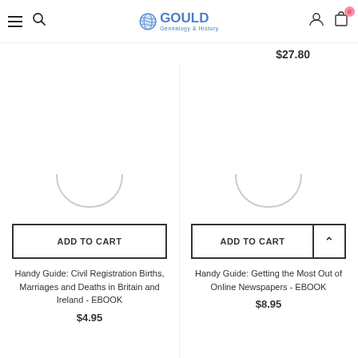Gould Genealogy & History
$27.80
[Figure (screenshot): Loading spinner arc (bottom half of circle) for left product image]
[Figure (screenshot): Loading spinner arc (bottom half of circle) for right product image]
ADD TO CART
ADD TO CART
Handy Guide: Civil Registration Births, Marriages and Deaths in Britain and Ireland - EBOOK
$4.95
Handy Guide: Getting the Most Out of Online Newspapers - EBOOK
$8.95